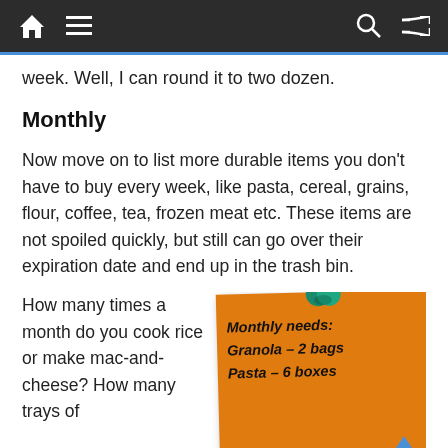Navigation bar with home, menu, search, shuffle icons
week. Well, I can round it to two dozen.
Monthly
Now move on to list more durable items you don’t have to buy every week, like pasta, cereal, grains, flour, coffee, tea, frozen meat etc. These items are not spoiled quickly, but still can go over their expiration date and end up in the trash bin.
How many times a month do you cook rice or make mac-and-cheese? How many trays of
[Figure (photo): Orange sticky note pinned with a green thumbtack, handwritten text reading: Monthly needs: Granola - 2 bags Pasta - 6 boxes]